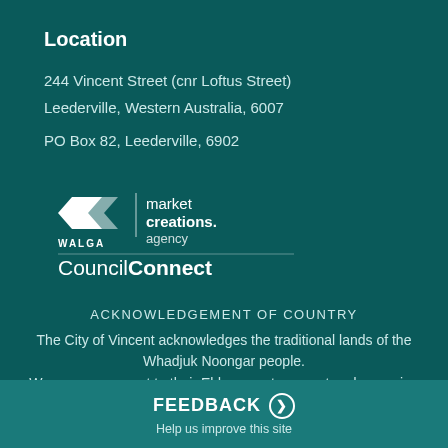Location
244 Vincent Street (cnr Loftus Street)
Leederville, Western Australia, 6007

PO Box 82, Leederville, 6902
[Figure (logo): WALGA Market Creations Agency logo above CouncilConnect text with divider line]
ACKNOWLEDGEMENT OF COUNTRY
The City of Vincent acknowledges the traditional lands of the Whadjuk Noongar people.
We pay our respect to their Elders, past, present and emerging
FEEDBACK
Help us improve this site